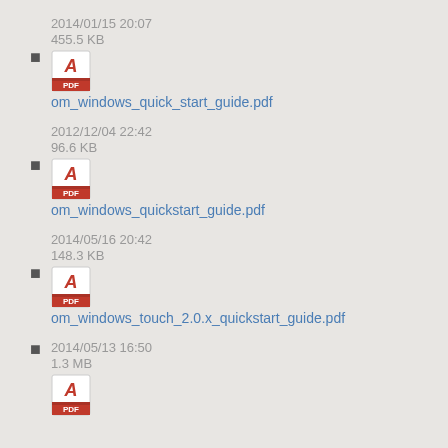2014/01/15 20:07
455.5 KB
om_windows_quick_start_guide.pdf
2012/12/04 22:42
96.6 KB
om_windows_quickstart_guide.pdf
2014/05/16 20:42
148.3 KB
om_windows_touch_2.0.x_quickstart_guide.pdf
2014/05/13 16:50
1.3 MB